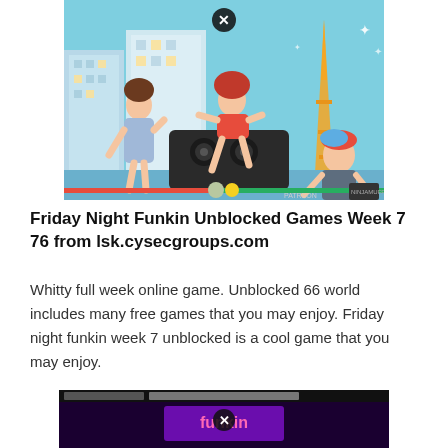[Figure (illustration): Anime-style illustration of three characters (two women and a small child) in a retro Japanese city scene with buildings, Tokyo Tower, and large speakers. Red and green health bars at the bottom, PATREON logo at lower right.]
Friday Night Funkin Unblocked Games Week 7 76 from lsk.cysecgroups.com
Whitty full week online game. Unblocked 66 world includes many free games that you may enjoy. Friday night funkin week 7 unblocked is a cool game that you may enjoy.
[Figure (screenshot): Partial screenshot of a webpage showing Friday Night Funkin gameplay with a close button (X) circle overlay.]